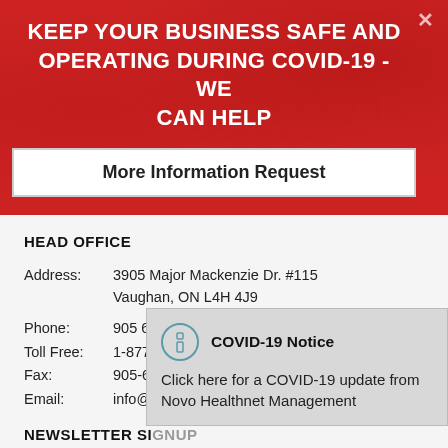KEEP YOUR BUSINESS SAFE AND OPERATING DURING COVID-19 - WE CAN HELP
More Information Request
HEAD OFFICE
Address: 3905 Major Mackenzie Dr. #115
Vaughan, ON L4H 4J9
Phone: 905 660-3777
Toll Free: 1-877-626-6402
Fax: 905-660-7496
Email: info@novohealthnet.com
[Figure (screenshot): COVID-19 Notice popup with icon, title 'COVID-19 Notice' and text 'Click here for a COVID-19 update from Novo Healthnet Management']
NEWSLETTER SIGNUP
Sign up to get health tips and the latest news from our